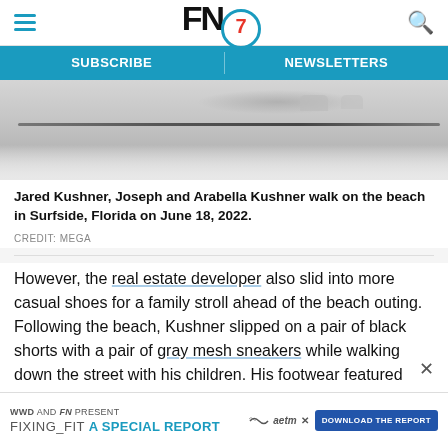FN7 - Footwear News header with hamburger menu and search icon
SUBSCRIBE | NEWSLETTERS
[Figure (photo): Beach scene showing feet/legs on sandy beach in Surfside, Florida]
Jared Kushner, Joseph and Arabella Kushner walk on the beach in Surfside, Florida on June 18, 2022.
CREDIT: MEGA
However, the real estate developer also slid into more casual shoes for a family stroll ahead of the beach outing. Following the beach, Kushner slipped on a pair of black shorts with a pair of gray mesh sneakers while walking down the street with his children. His footwear featured rubber soles and a lace-up silhouette, ideal fo